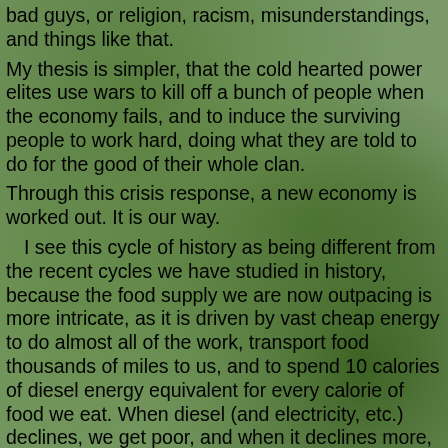[Figure (photo): Background photo of dense green foliage and trees, slightly blurred, serving as background behind text overlay.]
bad guys, or religion, racism, misunderstandings, and things like that. My thesis is simpler, that the cold hearted power elites use wars to kill off a bunch of people when the economy fails, and to induce the surviving people to work hard, doing what they are told to do for the good of their whole clan. Through this crisis response, a new economy is worked out. It is our way.

  I see this cycle of history as being different from the recent cycles we have studied in history, because the food supply we are now outpacing is more intricate, as it is driven by vast cheap energy to do almost all of the work, transport food thousands of miles to us, and to spend 10 calories of diesel energy equivalent for every calorie of food we eat. When diesel (and electricity, etc.) declines, we get poor, and when it declines more, we may break the economy that supports our lives, go through desperate hardship for indefinite periods of time, and even behave badly along the way.
  Wars are already being imposed upon people who live on top of oil, forcing their economies into failure to support them. That keep their economies sitting on the oil, not using it. The kings and owners will need it. Iraq, Iran, Libya, Syria...